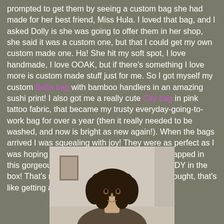prompted to get them by seeing a custom bag she had made for her best friend, Miss Hula. I loved that bag, and I asked Dolly is she was going to offer them in her shop, she said it was a custom one, but that I could get my own custom made one. Ha! She hit my soft spot, I love handmade, I love OOAK, but if there's something I love more is custom made stuff just for me. So I got myself my custom Bella bag with bamboo handlers in an amazing sushi print! I also got me a really cute City bag in pink tattoo fabric, that became my trusty everyday-going-to-work bag for over a year (then it really needed to be washed, and now is bright as new again!). When the bags arrived I was squealing with joy! They were as perfect as I was hoping and even more!! And they were wrapped in this gorgeous tissue paper and there was CANDY in the box! That's not just getting a package you've bought, that's like getting a present on the mail!
[Figure (photo): A person with dark curly hair photographed from approximately chest up, shown in a room with a picture frame visible on the wall in the background.]